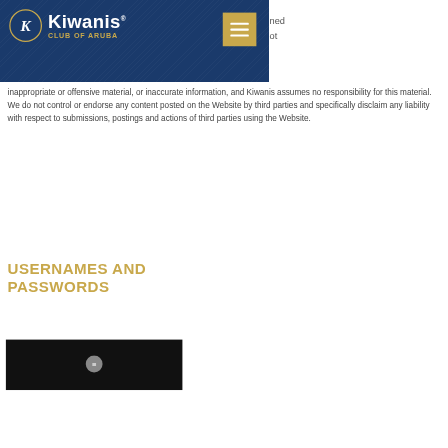[Figure (logo): Kiwanis Club of Aruba logo with navy blue header bar, circular K emblem, Kiwanis wordmark, gold subtitle, and hamburger menu button]
inappropriate or offensive material, or inaccurate information, and Kiwanis assumes no responsibility for this material. We do not control or endorse any content posted on the Website by third parties and specifically disclaim any liability with respect to submissions, postings and actions of third parties using the Website.
USERNAMES AND PASSWORDS
[Figure (screenshot): Dark/black bottom image area with a speech bubble chat icon]